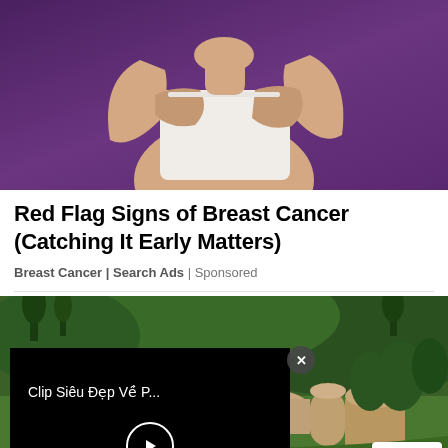[Figure (photo): Woman in white top touching her chest against a purple background — breast cancer awareness ad image]
Red Flag Signs of Breast Cancer (Catching It Early Matters)
Breast Cancer | Search Ads | Sponsored
[Figure (screenshot): Aerial view of a large estate/mansion with domed architecture surrounded by green gardens and hills, with a video player overlay showing 'Clip Siêu Đẹp Về P...' and a play button, plus a close (X) button and a reCAPTCHA badge in the bottom right corner]